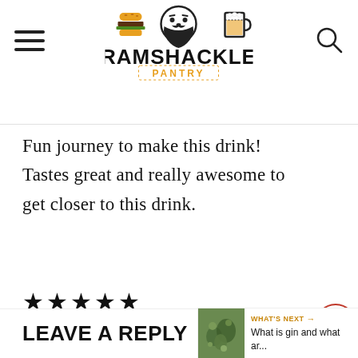[Figure (logo): Ramshackle Pantry logo with burger, beard face, and beer glass icons above the text RAMSHACKLE PANTRY]
Fun journey to make this drink! Tastes great and really awesome to get closer to this drink.
★★★★★
REPLY
[Figure (infographic): Social share sidebar with Pinterest (red circle), Facebook (dark blue circle), Twitter (light blue circle), Save (brown/gold circle with heart), save count 502, and share icon]
LEAVE A REPLY
[Figure (infographic): What's Next widget with gin plant image, label WHAT'S NEXT and text 'What is gin and what ar...']